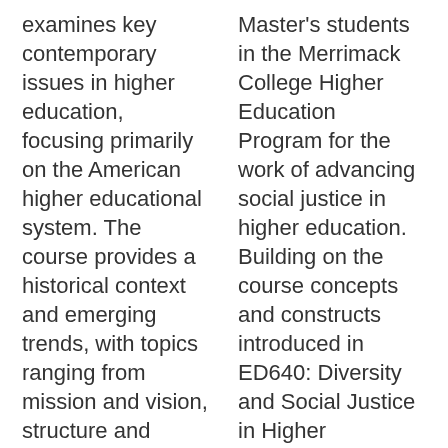examines key contemporary issues in higher education, focusing primarily on the American higher educational system. The course provides a historical context and emerging trends, with topics ranging from mission and vision, structure and governance, the funding of public and private institutions, demographic trends, characteristics of faculty, students and curricula, public
Master's students in the Merrimack College Higher Education Program for the work of advancing social justice in higher education. Building on the course concepts and constructs introduced in ED640: Diversity and Social Justice in Higher Education, students will engage in case study analysis and problem-based learning of current social justice and diversity issues on college campuses. This